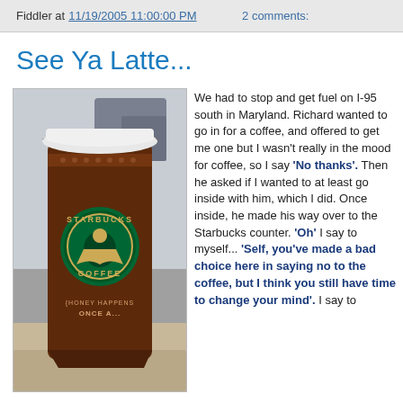Fiddler at 11/19/2005 11:00:00 PM   2 comments:
See Ya Latte...
[Figure (photo): A Starbucks coffee cup with white lid, showing the Starbucks Coffee logo and text 'Honey Happens Once A...' on the cup, photographed in what appears to be a car interior with a parking lot visible in the background.]
We had to stop and get fuel on I-95 south in Maryland. Richard wanted to go in for a coffee, and offered to get me one but I wasn't really in the mood for coffee, so I say 'No thanks'. Then he asked if I wanted to at least go inside with him, which I did. Once inside, he made his way over to the Starbucks counter. 'Oh' I say to myself... 'Self, you've made a bad choice here in saying no to the coffee, but I think you still have time to change your mind'. I say to